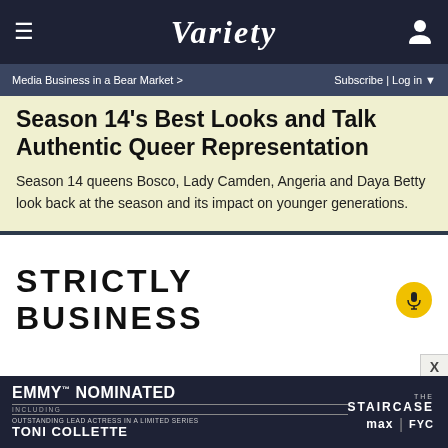VARIETY
Media Business in a Bear Market > | Subscribe | Log in
Season 14's Best Looks and Talk Authentic Queer Representation
Season 14 queens Bosco, Lady Camden, Angeria and Daya Betty look back at the season and its impact on younger generations.
[Figure (logo): Strictly Business podcast logo with microphone icon on yellow circle]
[Figure (other): Emmy Nominated advertisement for The Staircase on Max FYC, featuring Toni Collette for Outstanding Lead Actress in a Limited Series]